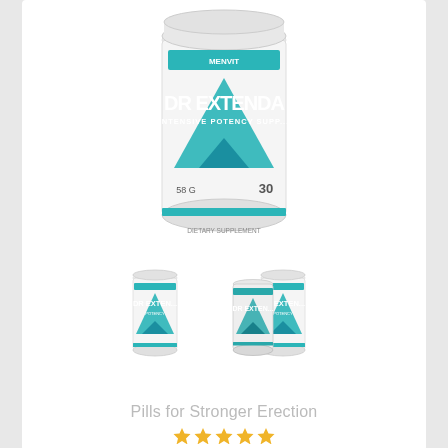[Figure (photo): Main product image: DR EXTENDA INTENSIVE POTENCY SUPPORT powder container by MENVIT, white with teal accent design]
[Figure (photo): Thumbnail of single DR EXTENDA bottle]
[Figure (photo): Thumbnail of two DR EXTENDA bottles together]
Before the discount expires:: 0 HR. 0 MIN. 0 SEC.
Pills for Stronger Erection